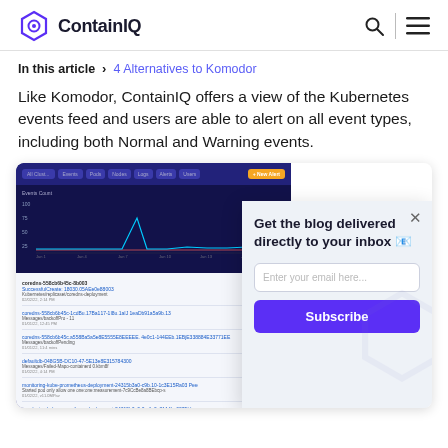ContainIQ
In this article  >  4 Alternatives to Komodor
Like Komodor, ContainIQ offers a view of the Kubernetes events feed and users are able to alert on all event types, including both Normal and Warning events.
[Figure (screenshot): ContainIQ app dashboard screenshot showing a Kubernetes events feed with a line chart at the top and a list of events below. A popup overlay shows a newsletter signup form with 'Get the blog delivered directly to your inbox' heading, email input, and Subscribe button.]